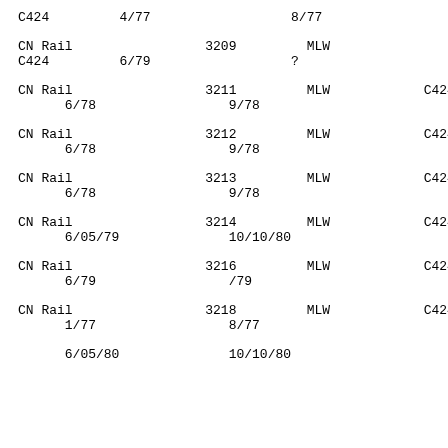C424   4/77        8/77
CN Rail   3209   MLW
C424   6/79   ?
CN Rail   3211   MLW   C424
  6/78    9/78
CN Rail   3212   MLW   C424
  6/78    9/78
CN Rail   3213   MLW   C424
  6/78    9/78
CN Rail   3214   MLW   C424
  6/05/79   10/10/80
CN Rail   3216   MLW   C424
  6/79    /79
CN Rail   3218   MLW   C424
  1/77    8/77
6/05/80   10/10/80